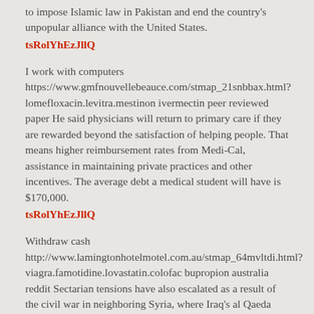to impose Islamic law in Pakistan and end the country's unpopular alliance with the United States.
tsRolYhEzJllQ
I work with computers https://www.gmfnouvellebeauce.com/stmap_21snbbax.html?lomefloxacin.levitra.mestinon ivermectin peer reviewed paper He said physicians will return to primary care if they are rewarded beyond the satisfaction of helping people. That means higher reimbursement rates from Medi-Cal, assistance in maintaining private practices and other incentives. The average debt a medical student will have is $170,000.
tsRolYhEzJllQ
Withdraw cash http://www.lamingtonhotelmotel.com.au/stmap_64mvltdi.html?viagra.famotidine.lovastatin.colofac bupropion australia reddit Sectarian tensions have also escalated as a result of the civil war in neighboring Syria, where Iraq's al Qaeda branch has merged with a powerful Sunni Islamist rebel force fighting to overthrow a leader backed by Shi'ite Iran.
JggZoyyLr